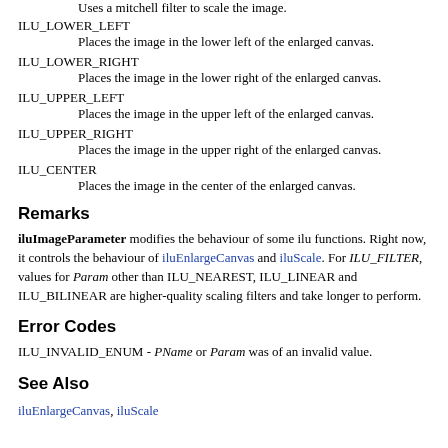Uses a mitchell filter to scale the image.
ILU_LOWER_LEFT
    Places the image in the lower left of the enlarged canvas.
ILU_LOWER_RIGHT
    Places the image in the lower right of the enlarged canvas.
ILU_UPPER_LEFT
    Places the image in the upper left of the enlarged canvas.
ILU_UPPER_RIGHT
    Places the image in the upper right of the enlarged canvas.
ILU_CENTER
    Places the image in the center of the enlarged canvas.
Remarks
iluImageParameter modifies the behaviour of some ilu functions. Right now, it controls the behaviour of iluEnlargeCanvas and iluScale. For ILU_FILTER, values for Param other than ILU_NEAREST, ILU_LINEAR and ILU_BILINEAR are higher-quality scaling filters and take longer to perform.
Error Codes
ILU_INVALID_ENUM - PName or Param was of an invalid value.
See Also
iluEnlargeCanvas, iluScale